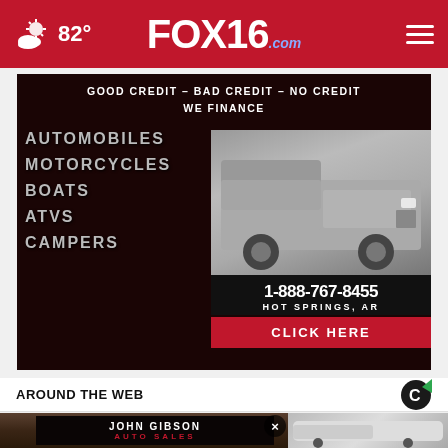FOX16.com — 82° weather header with navigation
[Figure (photo): Auto dealer advertisement: GOOD CREDIT – BAD CREDIT – NO CREDIT WE FINANCE. Automobiles, Motorcycles, Boats, ATVs, Campers. 1-888-767-8455 HOT SPRINGS, AR. CLICK HERE. John Gibson Auto Sales.]
AROUND THE WEB
[Figure (photo): John Gibson Auto Sales promotional banner with man's face and a white SUV]